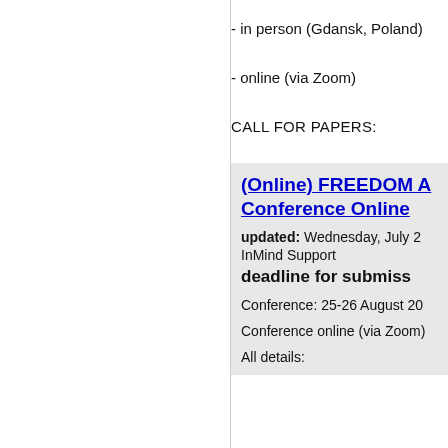- in person (Gdansk, Poland)
- online (via Zoom)
CALL FOR PAPERS:
(Online) FREEDOM AN... Conference Online
updated: Wednesday, July 2...
InMind Support
deadline for submiss...
Conference: 25-26 August 20...
Conference online (via Zoom)...
All details: